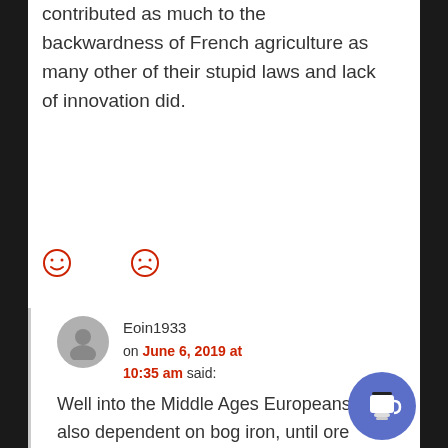contributed as much to the backwardness of French agriculture as many other of their stupid laws and lack of innovation did.
[Figure (infographic): Two reaction emoticons: a happy face and a sad face, rendered as red circle outlines with facial expressions]
Eoin1933 on June 6, 2019 at 10:35 am said:
Well into the Middle Ages Europeans were also dependent on bog iron, until ore extraction became a thing. Iron was expensive and not plentiful, also until coal production came into play charcoal was primarily